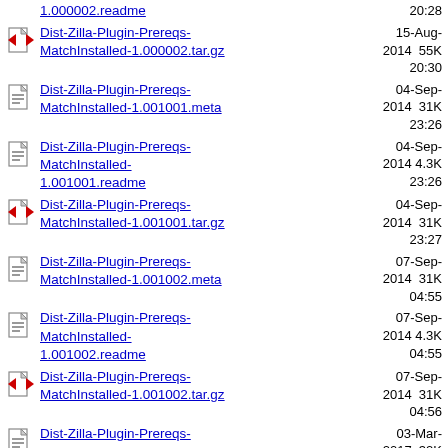1.000002.readme  20:28
Dist-Zilla-Plugin-Prereqs-MatchInstalled-1.000002.tar.gz  15-Aug-2014 20:30  55K
Dist-Zilla-Plugin-Prereqs-MatchInstalled-1.001001.meta  04-Sep-2014 23:26  31K
Dist-Zilla-Plugin-Prereqs-MatchInstalled-1.001001.readme  04-Sep-2014 23:26  4.3K
Dist-Zilla-Plugin-Prereqs-MatchInstalled-1.001001.tar.gz  04-Sep-2014 23:27  31K
Dist-Zilla-Plugin-Prereqs-MatchInstalled-1.001002.meta  07-Sep-2014 04:55  31K
Dist-Zilla-Plugin-Prereqs-MatchInstalled-1.001002.readme  07-Sep-2014 04:55  4.3K
Dist-Zilla-Plugin-Prereqs-MatchInstalled-1.001002.tar.gz  07-Sep-2014 04:56  31K
Dist-Zilla-Plugin-Prereqs-  03-Mar-2017  32K